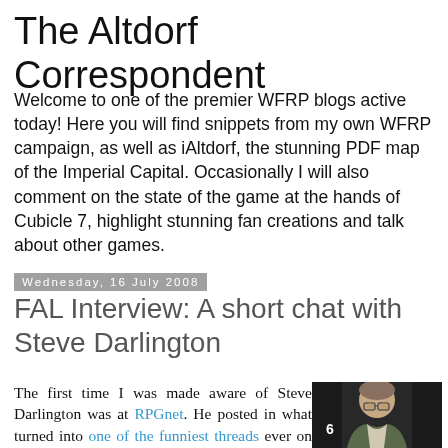The Altdorf Correspondent
Welcome to one of the premier WFRP blogs active today! Here you will find snippets from my own WFRP campaign, as well as iAltdorf, the stunning PDF map of the Imperial Capital. Occasionally I will also comment on the state of the game at the hands of Cubicle 7, highlight stunning fan creations and talk about other games.
Wednesday, 16 July 2008
FAL Interview: A short chat with Steve Darlington
The first time I was made aware of Steve Darlington was at RPGnet. He posted in what turned into one of the funniest threads ever on any site, and after a few good additions
[Figure (photo): Photo of Steve Darlington, a man with glasses, indoors at what appears to be a convention or event, with number 6 visible in background]